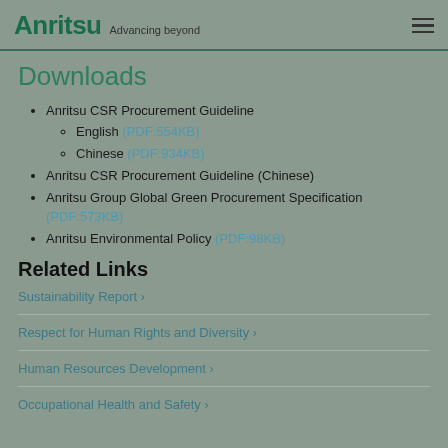Anritsu Advancing beyond
Downloads
Anritsu CSR Procurement Guideline
English (PDF:554KB)
Chinese (PDF:934KB)
Anritsu CSR Procurement Guideline (Chinese)
Anritsu Group Global Green Procurement Specification (PDF:573KB)
Anritsu Environmental Policy (PDF:98KB)
Related Links
Sustainability Report >
Respect for Human Rights and Diversity >
Human Resources Development >
Occupational Health and Safety >